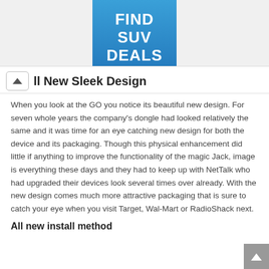[Figure (other): Blue advertisement banner with bold white text reading FIND SUV DEALS]
ll New Sleek Design
When you look at the GO you notice its beautiful new design. For seven whole years the company's dongle had looked relatively the same and it was time for an eye catching new design for both the device and its packaging. Though this physical enhancement did little if anything to improve the functionality of the magic Jack, image is everything these days and they had to keep up with NetTalk who had upgraded their devices look several times over already. With the new design comes much more attractive packaging that is sure to catch your eye when you visit Target, Wal-Mart or RadioShack next.
All new install method